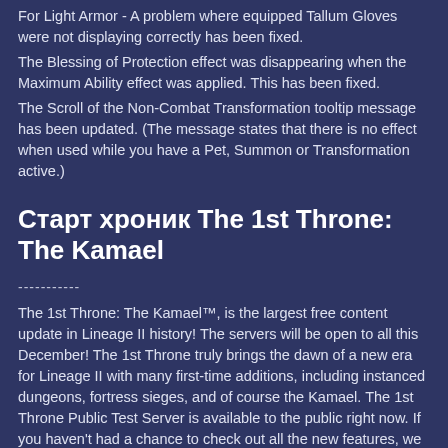For Light Armor - A problem where equipped Tallum Gloves were not displaying correctly has been fixed.
The Blessing of Protection effect was disappearing when the Maximum Ability effect was applied. This has been fixed.
The Scroll of the Non-Combat Transformation tooltip message has been updated. (The message states that there is no effect when used while you have a Pet, Summon or Transformation active.)
Старт хроник The 1st Throne: The Kamael
-----------
The 1st Throne: The Kamael™, is the largest free content update in Lineage II history! The servers will be open to all this December! The 1st Throne truly brings the dawn of a new era for Lineage II with many first-time additions, including instanced dungeons, fortress sieges, and of course the Kamael. The 1st Throne Public Test Server is available to the public right now. If you haven't had a chance to check out all the new features, we encourage you to dive in and experience the Kamael for yourself!
December 11, 2007
The 1st Throne Update Launch
All servers will be down for the launch of The 1st Throne beginning at